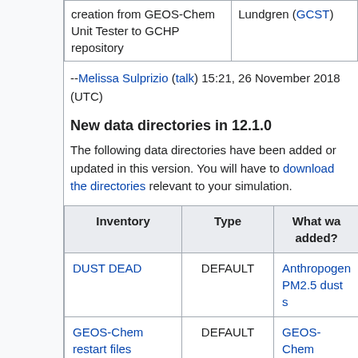|  | Lundgren (GCST) |
| --- | --- |
| creation from GEOS-Chem Unit Tester to GCHP repository |  |
--Melissa Sulprizio (talk) 15:21, 26 November 2018 (UTC)
New data directories in 12.1.0
The following data directories have been added or updated in this version. You will have to download the directories relevant to your simulation.
| Inventory | Type | What was added? |
| --- | --- | --- |
| DUST DEAD | DEFAULT | Anthropogenic PM2.5 dust s... |
| GEOS-Chem restart files | DEFAULT | GEOS-Chem restart file n... |